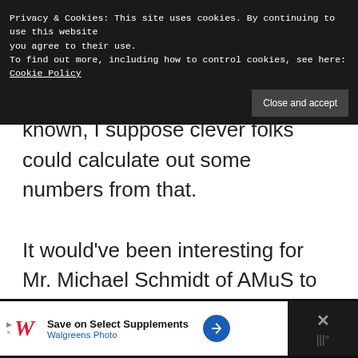Privacy & Cookies: This site uses cookies. By continuing to use this website you agree to their use. To find out more, including how to control cookies, see here: Cookie Policy | Close and accept
known, I suppose clever folks could calculate out some numbers from that. It would've been interesting for Mr. Michael Schmidt of AMuS to have asked Andy Cowell about Mercedes' progress, and expectations of meeting that goal.
[Figure (infographic): Advertisement bar at bottom: Walgreens Photo - Save on Select Supplements advertisement with red italic W logo, blue circular arrow icon, and close button with X symbol]